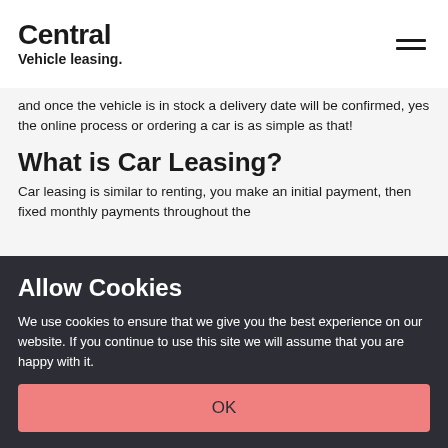[Figure (logo): Central Vehicle leasing logo with hamburger menu icon]
and once the vehicle is in stock a delivery date will be confirmed, yes the online process or ordering a car is as simple as that!
What is Car Leasing?
Car leasing is similar to renting, you make an initial payment, then fixed monthly payments throughout the
Allow Cookies
We use cookies to ensure that we give you the best experience on our website. If you continue to use this site we will assume that you are happy with it.
OK